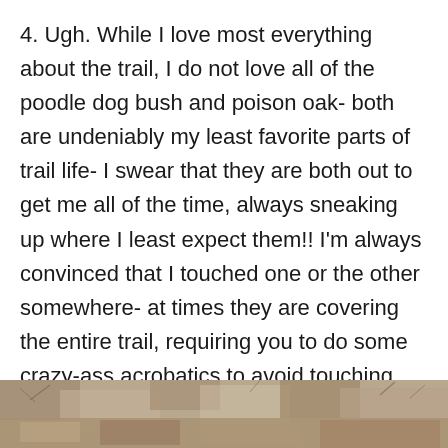4. Ugh. While I love most everything about the trail, I do not love all of the poodle dog bush and poison oak- both are undeniably my least favorite parts of trail life- I swear that they are both out to get me all of the time, always sneaking up where I least expect them!! I'm always convinced that I touched one or the other somewhere- at times they are covering the entire trail, requiring you to do some crazy-ass acrobatics to avoid touching them- and I swear the wind always picks up as I pass them! I have watched myself touch each plant at least once. Fuck.
[Figure (photo): Partial view of a rocky or dusty trail with dry vegetation, cropped at the bottom of the page.]